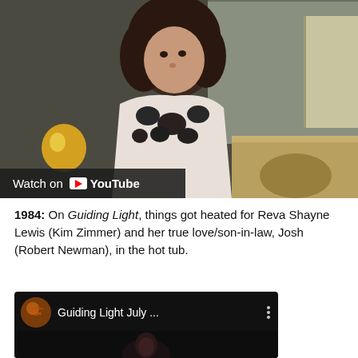[Figure (screenshot): YouTube video thumbnail showing a woman with curly brown hair wearing a floral top, with a red YouTube play button overlay and 'Watch on YouTube' bar at the bottom]
1984: On Guiding Light, things got heated for Reva Shayne Lewis (Kim Zimmer) and her true love/son-in-law, Josh (Robert Newman), in the hot tub.
[Figure (screenshot): Second YouTube video thumbnail showing 'Guiding Light July ...' with channel icon and dark scene with a person]